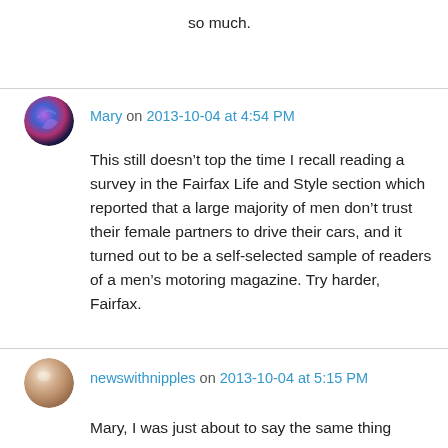so much.
Mary on 2013-10-04 at 4:54 PM
This still doesn’t top the time I recall reading a survey in the Fairfax Life and Style section which reported that a large majority of men don’t trust their female partners to drive their cars, and it turned out to be a self-selected sample of readers of a men’s motoring magazine. Try harder, Fairfax.
newswithnipples on 2013-10-04 at 5:15 PM
Mary, I was just about to say the same thing